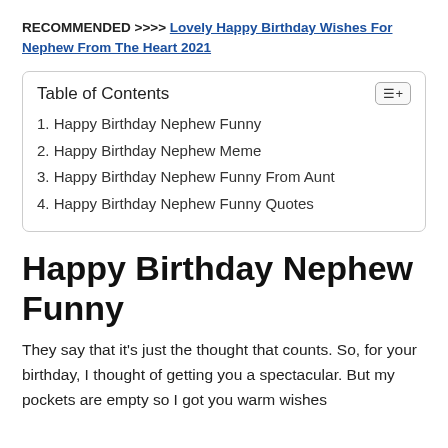RECOMMENDED >>>> Lovely Happy Birthday Wishes For Nephew From The Heart 2021
| Table of Contents |
| --- |
| 1. Happy Birthday Nephew Funny |
| 2. Happy Birthday Nephew Meme |
| 3. Happy Birthday Nephew Funny From Aunt |
| 4. Happy Birthday Nephew Funny Quotes |
Happy Birthday Nephew Funny
They say that it's just the thought that counts. So, for your birthday, I thought of getting you a spectacular. But my pockets are empty so I got you warm wishes